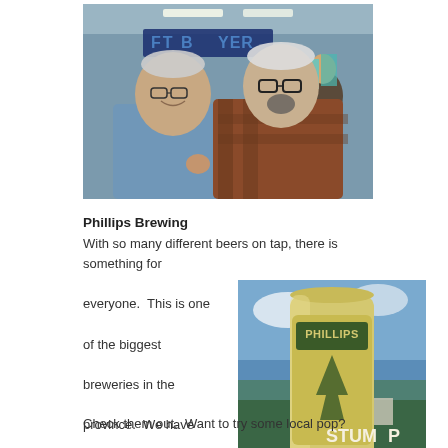[Figure (photo): Group of four people laughing and smiling inside what appears to be a store or shop. Two older men are in the foreground, one in a blue shirt and one in a plaid flannel, with two younger men behind them.]
Phillips Brewing
With so many different beers on tap, there is something for everyone.  This is one of the biggest breweries in the province.  We have done a few blogs about Phillips beer.  Check them out.  Want to try some local pop?
[Figure (photo): A Phillips Brewing beer can or bottle labeled 'STUMP' standing outdoors against a partly cloudy sky with trees and buildings in the background.]